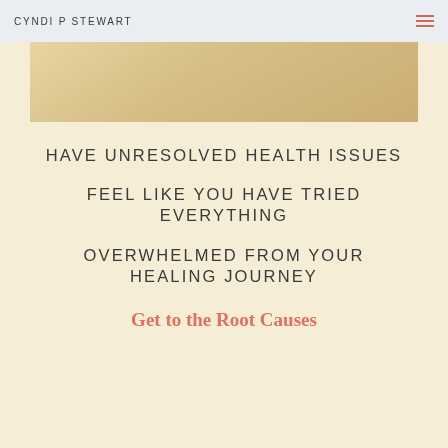CYNDI P STEWART
[Figure (photo): Partial view of a workspace or desk scene with warm yellow/beige tones]
HAVE UNRESOLVED HEALTH ISSUES
FEEL LIKE YOU HAVE TRIED EVERYTHING
OVERWHELMED FROM YOUR HEALING JOURNEY
Get to the Root Causes